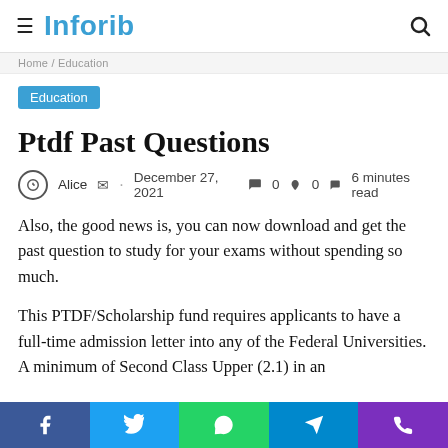Inforib
Home / Education
Education
Ptdf Past Questions
Alice · December 27, 2021 💬 0 🔥 0 🏷 6 minutes read
Also, the good news is, you can now download and get the past question to study for your exams without spending so much.
This PTDF/Scholarship fund requires applicants to have a full-time admission letter into any of the Federal Universities. A minimum of Second Class Upper (2.1) in an